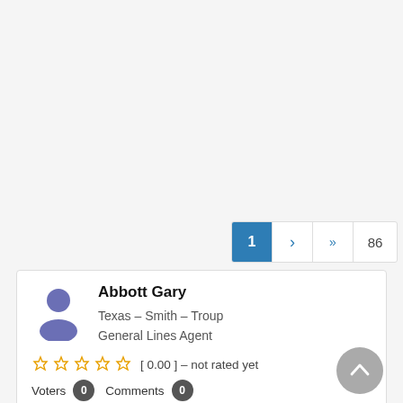[Figure (other): Pagination control showing page 1 active (blue), next arrow, double-next arrow, and page 86]
[Figure (other): User profile card for Abbott Gary - person icon, name, Texas Smith Troup General Lines Agent, 0.00 star rating not rated yet, 0 Voters, 0 Comments]
[Figure (other): User profile card for Ables Jeremy Dean - person icon, name, Texas Smith Tyler General Lines Agent, with back-to-top circular button]